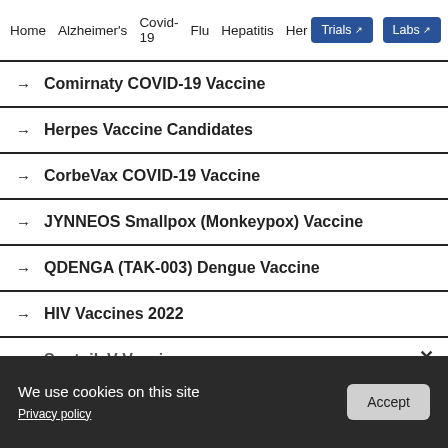Home  Alzheimer's  Covid-19  Flu  Hepatitis  Her  Trials  Labs
→ Comirnaty COVID-19 Vaccine
→ Herpes Vaccine Candidates
→ CorbeVax COVID-19 Vaccine
→ JYNNEOS Smallpox (Monkeypox) Vaccine
→ QDENGA (TAK-003) Dengue Vaccine
→ HIV Vaccines 2022
→ Sputnik V Vaccine
ADVERTISEMENT
We use cookies on this site
Privacy policy
Accept